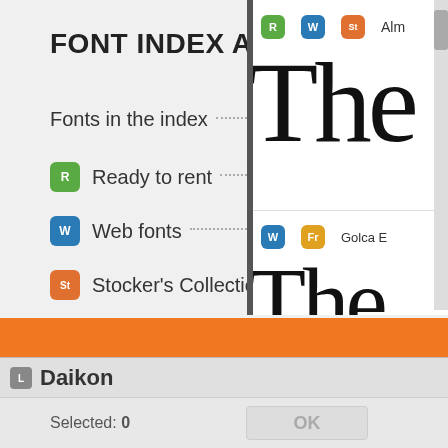FONT INDEX A-Z
Fonts in the index ............ 5590
R Ready to rent ............ 2547
W Web fonts ............ 2732
St Stocker's Collection ............ 1796
Fr Free fonts ............ 231
[Figure (screenshot): Right panel showing font preview with badges R, W, St and text 'Alm', large 'The' text, then W, Fr badges with 'Golca E' and another large 'The' preview]
By using Rentafont website, you agree to our use of cookies
Daikon
Selected: 0
OK